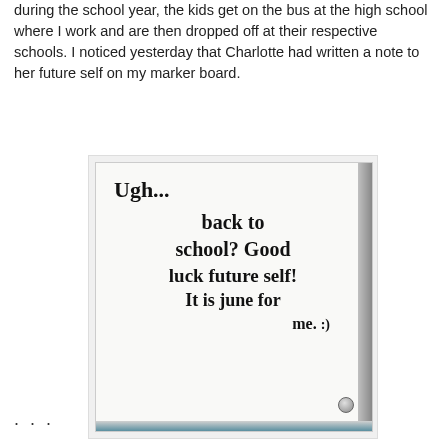during the school year, the kids get on the bus at the high school where I work and are then dropped off at their respective schools. I noticed yesterday that Charlotte had written a note to her future self on my marker board.
[Figure (photo): Photo of a whiteboard with handwritten marker text reading: 'Ugh... back to school? Good luck future self! It is June for me. :)' with a circular magnet visible in the bottom right corner.]
. . .